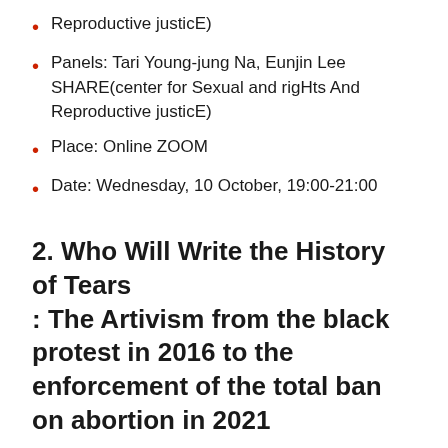Reproductive justicE)
Panels: Tari Young-jung Na, Eunjin Lee SHARE(center for Sexual and rigHts And Reproductive justicE)
Place: Online ZOOM
Date: Wednesday, 10 October, 19:00-21:00
2. Who Will Write the History of Tears
: The Artivism from the black protest in 2016 to the enforcement of the total ban on abortion in 2021